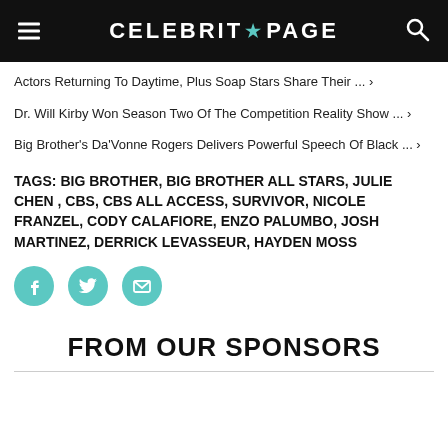CELEBRITY PAGE
Actors Returning To Daytime, Plus Soap Stars Share Their ... ›
Dr. Will Kirby Won Season Two Of The Competition Reality Show ... ›
Big Brother's Da'Vonne Rogers Delivers Powerful Speech Of Black ... ›
TAGS: BIG BROTHER, BIG BROTHER ALL STARS, JULIE CHEN, CBS, CBS ALL ACCESS, SURVIVOR, NICOLE FRANZEL, CODY CALAFIORE, ENZO PALUMBO, JOSH MARTINEZ, DERRICK LEVASSEUR, HAYDEN MOSS
[Figure (other): Social share buttons: Facebook, Twitter, Email]
FROM OUR SPONSORS